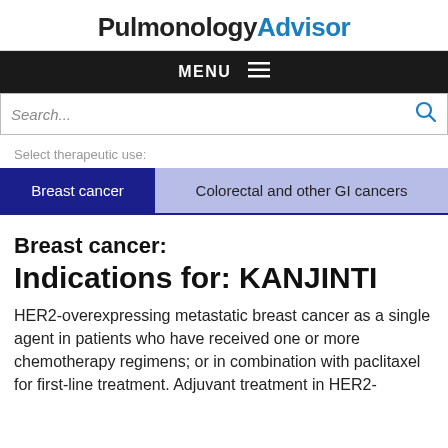PulmonologyAdvisor
MENU
Search...
Select therapeutic use:
Breast cancer
Colorectal and other GI cancers
Breast cancer:
Indications for: KANJINTI
HER2-overexpressing metastatic breast cancer as a single agent in patients who have received one or more chemotherapy regimens; or in combination with paclitaxel for first-line treatment. Adjuvant treatment in HER2-